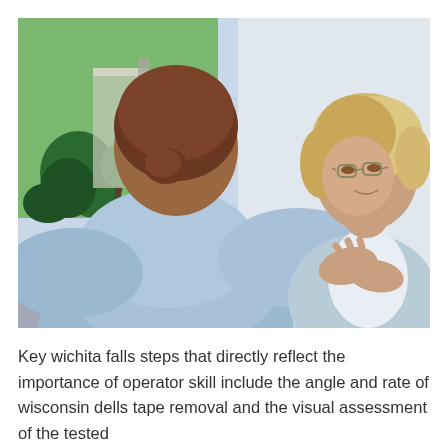[Figure (photo): Two women sitting across from each other, one facing away with brown hair in a bun wearing a light blue top, and an older blonde woman wearing glasses and a light blue cardigan, gesturing with her hands as if speaking. Background shows outdoor greenery and a light wall.]
Key wichita falls steps that directly reflect the importance of operator skill include the angle and rate of wisconsin dells tape removal and the visual assessment of the tested